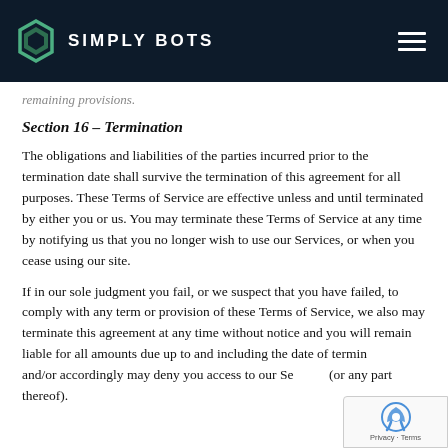SIMPLY BOTS
remaining provisions.
Section 16 – Termination
The obligations and liabilities of the parties incurred prior to the termination date shall survive the termination of this agreement for all purposes. These Terms of Service are effective unless and until terminated by either you or us. You may terminate these Terms of Service at any time by notifying us that you no longer wish to use our Services, or when you cease using our site.
If in our sole judgment you fail, or we suspect that you have failed, to comply with any term or provision of these Terms of Service, we also may terminate this agreement at any time without notice and you will remain liable for all amounts due up to and including the date of termination; and/or accordingly may deny you access to our Services (or any part thereof).